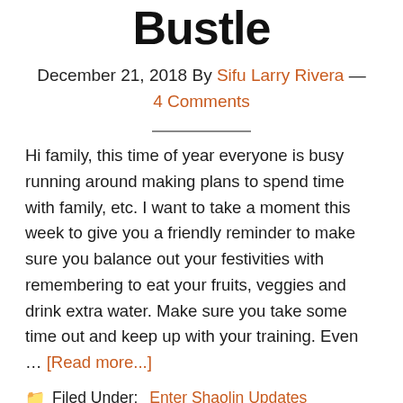Bustle
December 21, 2018 By Sifu Larry Rivera — 4 Comments
Hi family, this time of year everyone is busy running around making plans to spend time with family, etc. I want to take a moment this week to give you a friendly reminder to make sure you balance out your festivities with remembering to eat your fruits, veggies and drink extra water. Make sure you take some time out and keep up with your training. Even … [Read more...]
Filed Under: Enter Shaolin Updates
Tagged With: ...